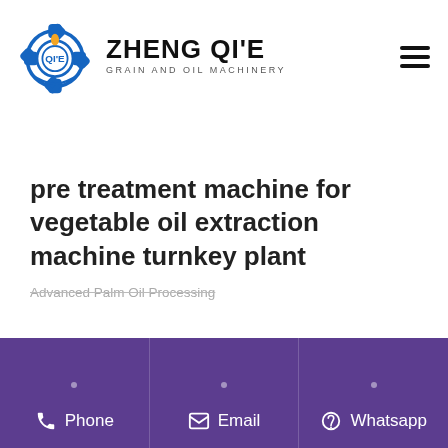[Figure (logo): Zheng Qi'e Grain and Oil Machinery logo with gear icon and company name]
pre treatment machine for vegetable oil extraction machine turnkey plant
Advanced Palm Oil Processing
Phone   Email   Whatsapp